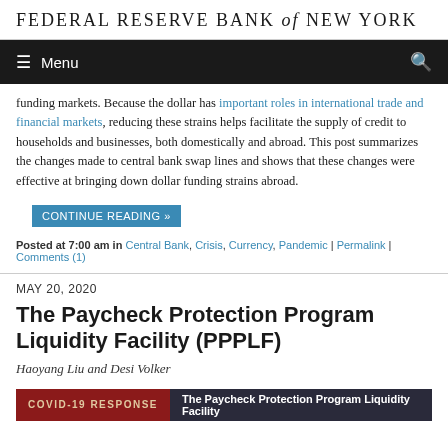FEDERAL RESERVE BANK of NEW YORK
funding markets. Because the dollar has important roles in international trade and financial markets, reducing these strains helps facilitate the supply of credit to households and businesses, both domestically and abroad. This post summarizes the changes made to central bank swap lines and shows that these changes were effective at bringing down dollar funding strains abroad.
CONTINUE READING »
Posted at 7:00 am in Central Bank, Crisis, Currency, Pandemic | Permalink | Comments (1)
MAY 20, 2020
The Paycheck Protection Program Liquidity Facility (PPPLF)
Haoyang Liu and Desi Volker
[Figure (infographic): COVID-19 RESPONSE banner with red left section and dark blue right section reading 'The Paycheck Protection Program Liquidity Facility']